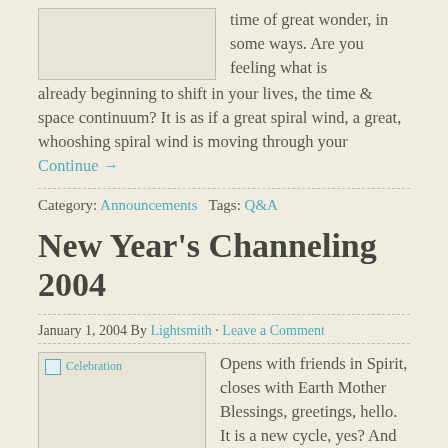[Figure (photo): Placeholder image box at top left]
time of great wonder, in some ways. Are you feeling what is already beginning to shift in your lives, the time & space continuum? It is as if a great spiral wind, a great, whooshing spiral wind is moving through your Continue →
Category: Announcements  Tags: Q&A
New Year's Channeling 2004
January 1, 2004 By Lightsmith · Leave a Comment
[Figure (photo): Celebration image placeholder]
Opens with friends in Spirit, closes with Earth Mother Blessings, greetings, hello. It is a new cycle, yes? And hallelujah, yes? Ah, so, let us breathe a little bit together. Open up, and we will introduce